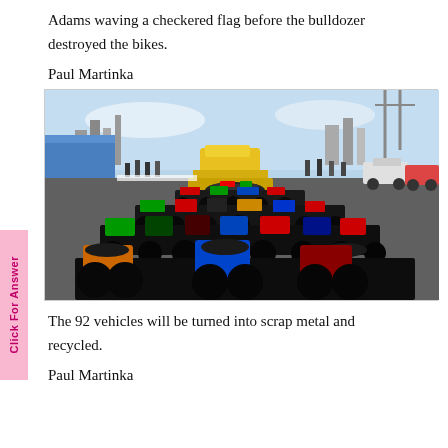Adams waving a checkered flag before the bulldozer destroyed the bikes.
Paul Martinka
[Figure (photo): Large group of motorcycles and scooters arranged in a wide row in a parking lot or port area. A bulldozer is visible in the background, along with spectators and city skyline. The bikes are colorful — red, green, blue, black, orange.]
The 92 vehicles will be turned into scrap metal and recycled.
Paul Martinka